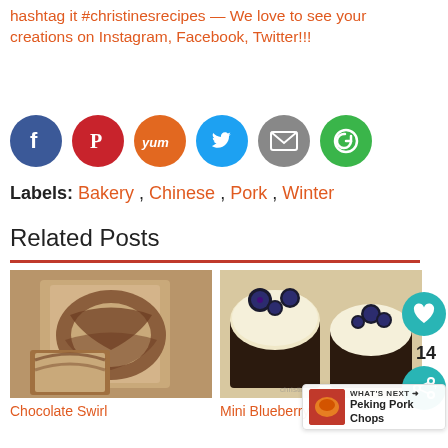hashtag it #christinesrecipes — We love to see your creations on Instagram, Facebook, Twitter!!!
[Figure (other): Social media share icons: Facebook (blue), Pinterest (red), Yummly (orange), Twitter (light blue), Email (grey), Share/refresh (green)]
Labels: Bakery , Chinese , Pork , Winter
Related Posts
[Figure (photo): Photo of a chocolate swirl bread loaf, sliced to show swirl interior]
[Figure (photo): Photo of mini blueberry cheesecakes topped with blueberries]
Chocolate Swirl
Mini Blueberry